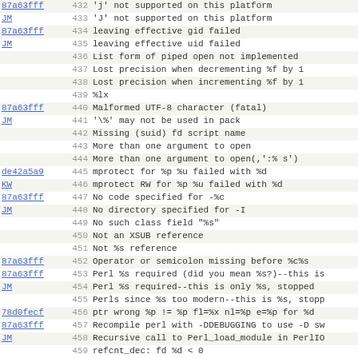| hash | num | message |
| --- | --- | --- |
| 87a63fff | 432 | 'j' not supported on this platform |
| JM | 433 | 'J' not supported on this platform |
| 87a63fff | 434 | leaving effective gid failed |
| JM | 435 | leaving effective uid failed |
|  | 436 | List form of piped open not implemented |
|  | 437 | Lost precision when decrementing %f by 1 |
|  | 438 | Lost precision when incrementing %f by 1 |
|  | 439 | %lx |
| 87a63fff | 440 | Malformed UTF-8 character (fatal) |
| JM | 441 | '\%' may not be used in pack |
|  | 442 | Missing (suid) fd script name |
|  | 443 | More than one argument to open |
|  | 444 | More than one argument to open(,':% s') |
| de42a5a9 | 445 | mprotect for %p %u failed with %d |
| KW | 446 | mprotect RW for %p %u failed with %d |
| 87a63fff | 447 | No code specified for -%c |
| JM | 448 | No directory specified for -I |
|  | 449 | No such class field "%s" |
|  | 450 | Not an XSUB reference |
|  | 451 | Not %s reference |
| 87a63fff | 452 | Operator or semicolon missing before %c%s |
| 87a63fff | 453 | Perl %s required (did you mean %s?)--this is |
| JM | 454 | Perl %s required--this is only %s, stopped |
|  | 455 | Perls since %s too modern--this is %s, stopp |
| 78d0fecf | 456 | ptr wrong %p != %p fl=%x nl=%p e=%p for %d |
| 87a63fff | 457 | Recompile perl with -DDEBUGGING to use -D sw |
| JM | 458 | Recursive call to Perl_load_module in PerlIO |
|  | 459 | refcnt_dec: fd %d < 0 |
|  | 460 | refcnt_dec: fd %d: %d <= 0 |
|  | 461 | refcnt_dec: fd %d >= refcnt_size %d |
|  | 462 | refcnt_inc: fd %d < 0 |
|  | 463 | refcnt_inc: fd %d: %d <= 0 |
|  | 464 | Recompile %s... |